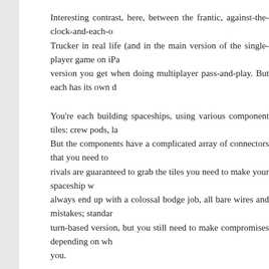Interesting contrast, here, between the frantic, against-the-clock-and-each-other Trucker in real life (and in the main version of the single-player game on iPad version you get when doing multiplayer pass-and-play. But each has its own d
You're each building spaceships, using various component tiles: crew pods, la But the components have a complicated array of connectors that you need to rivals are guaranteed to grab the tiles you need to make your spaceship w always end up with a colossal bodge job, all bare wires and mistakes; standar turn-based version, but you still need to make compromises depending on wh you.
And then, once you've all built your ships, you sail off into space to see how t occuring adventures are resolved – you're attacked by smugglers! Did you i racing to reach the finish! Did you, er, remember to include any means of pro – and then a winner is determined.
It's a funny and challenging game that works better in this transformed, largely expected, and offers something completely different to the usual fare.